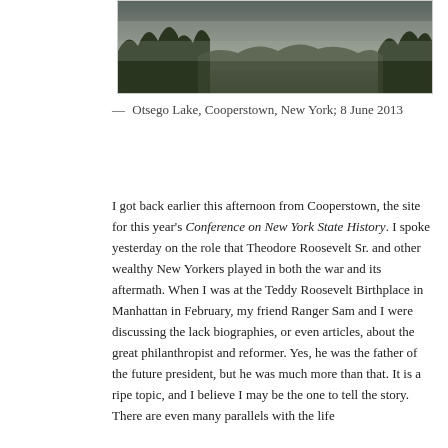[Figure (photo): Dark misty landscape photo showing overcast sky and trees, Otsego Lake area]
— Otsego Lake, Cooperstown, New York; 8 June 2013
I got back earlier this afternoon from Cooperstown, the site for this year's Conference on New York State History. I spoke yesterday on the role that Theodore Roosevelt Sr. and other wealthy New Yorkers played in both the war and its aftermath. When I was at the Teddy Roosevelt Birthplace in Manhattan in February, my friend Ranger Sam and I were discussing the lack biographies, or even articles, about the great philanthropist and reformer. Yes, he was the father of the future president, but he was much more than that. It is a ripe topic, and I believe I may be the one to tell the story. There are even many parallels with the life